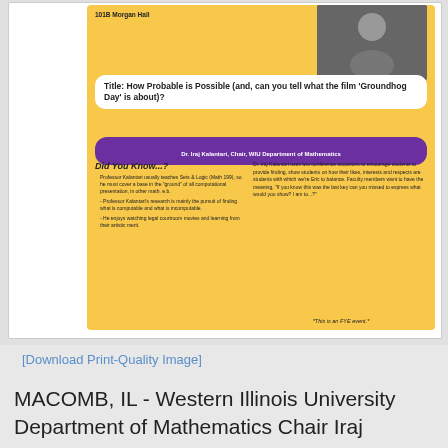[Figure (infographic): Event flyer for WIU Last Lecture. Shows a yellow background flyer with the title 'How Probable is Possible (and, can you tell what the film Groundhog Day is about)?', speaker Dr. Iraj Kalantari in a purple pill banner, a photo of the speaker, a Did You Know section with bullet points, and a right-side text block. Venue: 101B Morgan Hall.]
[Download Print-Quality Image]
MACOMB, IL - Western Illinois University Department of Mathematics Chair Iraj Kalantari will deliver the 2015 Last Lecture, "How Probable is Possible (and, Can You Tell